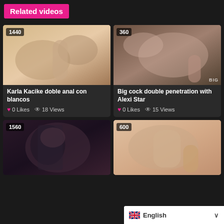Related videos
[Figure (screenshot): Video thumbnail card 1 with badge 1440, title Karla Kacike doble anal con blancos, 0 Likes, 18 Views]
[Figure (screenshot): Video thumbnail card 2 with badge 360, title Big cock double penetration with Alexi Star, 0 Likes, 15 Views]
[Figure (screenshot): Video thumbnail card 3 with badge 1560, partially visible]
[Figure (screenshot): Video thumbnail card 4 with badge 600, partially visible]
English